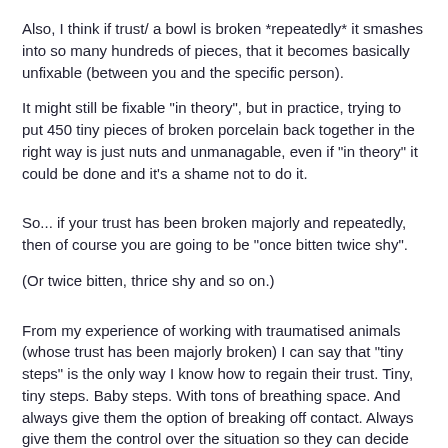Also, I think if trust/ a bowl is broken *repeatedly* it smashes into so many hundreds of pieces, that it becomes basically unfixable (between you and the specific person).
It might still be fixable "in theory", but in practice, trying to put 450 tiny pieces of broken porcelain back together in the right way is just nuts and unmanagable, even if "in theory" it could be done and it's a shame not to do it.
So... if your trust has been broken majorly and repeatedly, then of course you are going to be "once bitten twice shy".
(Or twice bitten, thrice shy and so on.)
From my experience of working with traumatised animals (whose trust has been majorly broken) I can say that "tiny steps" is the only way I know how to regain their trust. Tiny, tiny steps. Baby steps. With tons of breathing space. And always give them the option of breaking off contact. Always give them the control over the situation so they can decide whether to approach or recede. Allow them the space to rebuild their trust in a pace that feels safe to them.